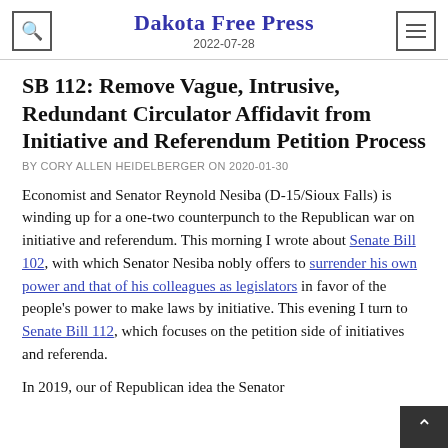Dakota Free Press
2022-07-28
SB 112: Remove Vague, Intrusive, Redundant Circulator Affidavit from Initiative and Referendum Petition Process
BY CORY ALLEN HEIDELBERGER ON 2020-01-30
Economist and Senator Reynold Nesiba (D-15/Sioux Falls) is winding up for a one-two counterpunch to the Republican war on initiative and referendum. This morning I wrote about Senate Bill 102, with which Senator Nesiba nobly offers to surrender his own power and that of his colleagues as legislators in favor of the people's power to make laws by initiative. This evening I turn to Senate Bill 112, which focuses on the petition side of initiatives and referenda.
In 2019, our of Republican idea the Senator